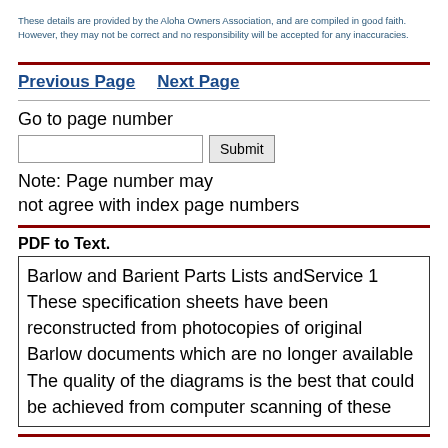These details are provided by the Aloha Owners Association, and are compiled in good faith. However, they may not be correct and no responsibility will be accepted for any inaccuracies.
Previous Page    Next Page
Go to page number
Note: Page number may not agree with index page numbers
PDF to Text.
Barlow and Barient Parts Lists andService 1 These specification sheets have been reconstructed from photocopies of original Barlow documents which are no longer available The quality of the diagrams is the best that could be achieved from computer scanning of these
Please read website Cookie, Privacy, and Disclamers by